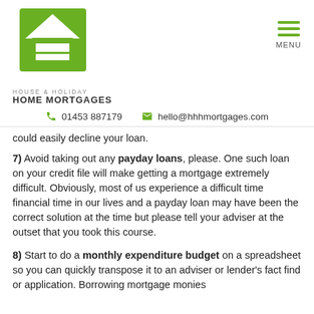[Figure (logo): House & Holiday Home Mortgages logo — green house icon with HHH letters]
HOUSE & HOLIDAY
HOME MORTGAGES
[Figure (infographic): Hamburger menu icon (three green horizontal lines) with MENU label]
01453 887179   hello@hhhmortgages.com
could easily decline your loan.
7) Avoid taking out any payday loans, please. One such loan on your credit file will make getting a mortgage extremely difficult. Obviously, most of us experience a difficult time financial time in our lives and a payday loan may have been the correct solution at the time but please tell your adviser at the outset that you took this course.
8) Start to do a monthly expenditure budget on a spreadsheet so you can quickly transpose it to an adviser or lender's fact find or application. Borrowing mortgage monies on a mortgage is about affordability with a good bit